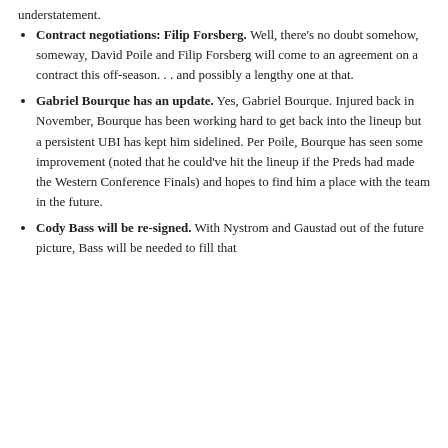understatement.
Contract negotiations: Filip Forsberg. Well, there's no doubt somehow, someway, David Poile and Filip Forsberg will come to an agreement on a contract this off-season. . . and possibly a lengthy one at that.
Gabriel Bourque has an update. Yes, Gabriel Bourque. Injured back in November, Bourque has been working hard to get back into the lineup but a persistent UBI has kept him sidelined. Per Poile, Bourque has seen some improvement (noted that he could've hit the lineup if the Preds had made the Western Conference Finals) and hopes to find him a place with the team in the future.
Cody Bass will be re-signed. With Nystrom and Gaustad out of the future picture, Bass will be needed to fill that
Privacy & Cookies: This site uses cookies. By continuing to use this website, you agree to their use. To find out more, including how to control cookies, see here: Cookie Policy
Close and accept